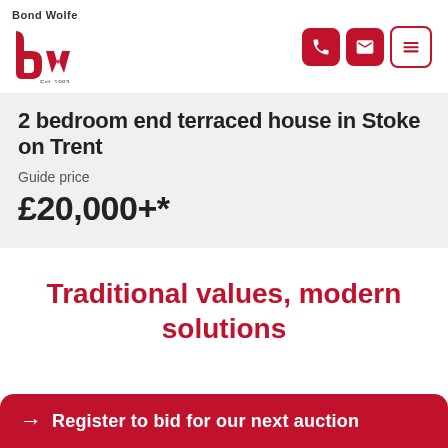[Figure (logo): Bond Wolfe logo with red stylized 'bw' letters and 'Est. 1983' text, plus navigation icons (phone, email, menu)]
2 bedroom end terraced house in Stoke on Trent
Guide price
£20,000+*
Traditional values, modern solutions
→ Register to bid for our next auction